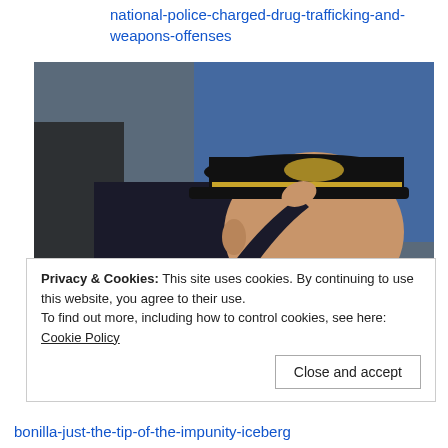national-police-charged-drug-trafficking-and-weapons-offenses
[Figure (photo): A police officer in dark uniform with gold-decorated cap saluting, photographed in profile/three-quarter view against a blurred blue and yellow background]
Privacy & Cookies: This site uses cookies. By continuing to use this website, you agree to their use.
To find out more, including how to control cookies, see here: Cookie Policy
[Close and accept button]
bonilla-just-the-tip-of-the-impunity-iceberg